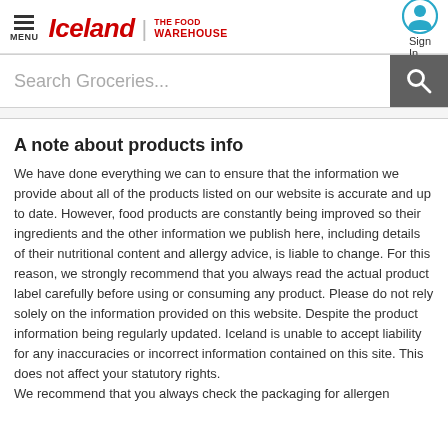Iceland | the food WAREHOUSE — Menu, Sign In, Search Groceries
A note about products info
We have done everything we can to ensure that the information we provide about all of the products listed on our website is accurate and up to date. However, food products are constantly being improved so their ingredients and the other information we publish here, including details of their nutritional content and allergy advice, is liable to change. For this reason, we strongly recommend that you always read the actual product label carefully before using or consuming any product. Please do not rely solely on the information provided on this website. Despite the product information being regularly updated. Iceland is unable to accept liability for any inaccuracies or incorrect information contained on this site. This does not affect your statutory rights.
We recommend that you always check the packaging for allergen